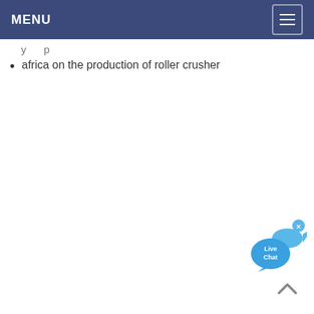MENU
africa on the production of roller crusher
[Figure (illustration): Live Chat bubble icon with close button in top-right corner]
[Figure (illustration): Back to top arrow chevron icon]